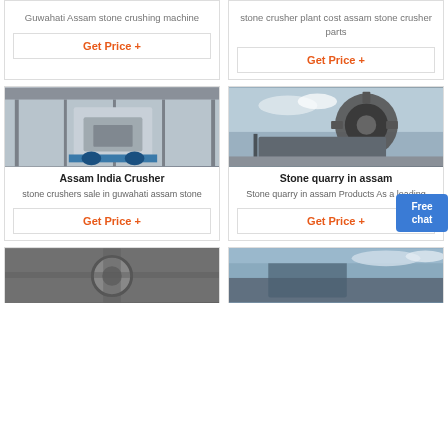Guwahati Assam stone crushing machine
stone crusher plant cost assam stone crusher parts
Get Price +
Get Price +
[Figure (photo): Factory interior showing industrial stone crushing machine equipment]
[Figure (photo): Stone quarry washing/screening machine equipment outdoors]
Assam India Crusher
Stone quarry in assam
stone crushers sale in guwahati assam stone
Stone quarry in assam Products As a leading
Get Price +
Get Price +
[Figure (photo): Close-up of industrial crusher parts]
[Figure (photo): Outdoor construction/quarry equipment]